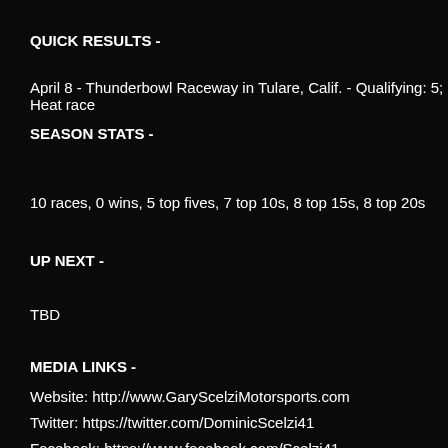QUICK RESULTS -
April 8 - Thunderbowl Raceway in Tulare, Calif. - Qualifying: 5; Heat race
SEASON STATS -
10 races, 0 wins, 5 top fives, 7 top 10s, 8 top 15s, 8 top 20s
UP NEXT -
TBD
MEDIA LINKS -
Website: http://www.GaryScelziMotorsports.com
Twitter: https://twitter.com/DominicScelzi41
Facebook: https://www.facebook.com/Scelzi41